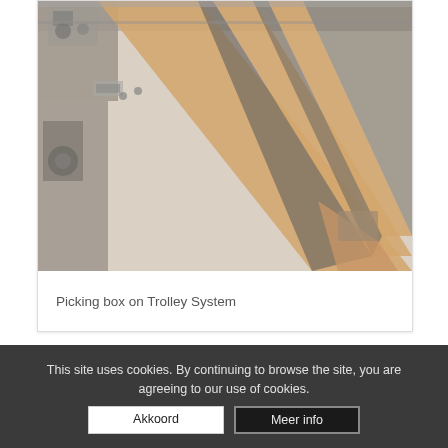[Figure (photo): Industrial overhead crane or trolley system with orange/wooden-colored beam structures viewed from above at an angle, showing mechanical components, rails, and support fixtures in a factory setting. Image appears faded/washed out.]
Picking box on Trolley System
This site uses cookies. By continuing to browse the site, you are agreeing to our use of cookies.
Akkoord
Meer info